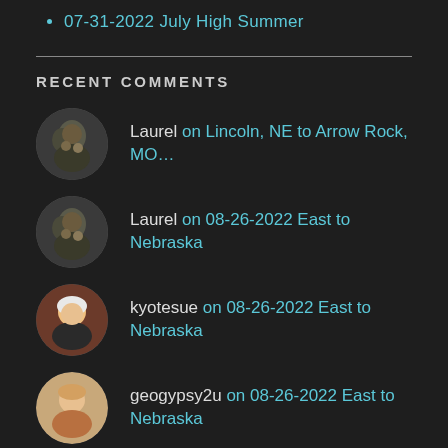07-31-2022 July High Summer
RECENT COMMENTS
Laurel on Lincoln, NE to Arrow Rock, MO...
Laurel on 08-26-2022 East to Nebraska
kyotesue on 08-26-2022 East to Nebraska
geogypsy2u on 08-26-2022 East to Nebraska
Laurel on 08-22-2022 A Slow Start...